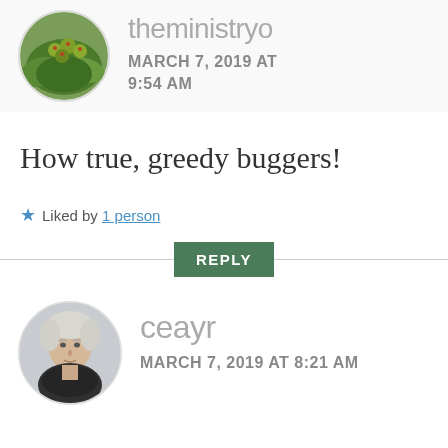[Figure (photo): Circular avatar photo of green plant/berries on a branch, serving as user profile picture for 'theministryo']
theministryo
MARCH 7, 2019 AT 9:54 AM
How true, greedy buggers!
Liked by 1 person
REPLY
[Figure (photo): Circular avatar photo of an older man with grey/white hair wearing a dark scarf, serving as user profile picture for 'ceayr']
ceayr
MARCH 7, 2019 AT 8:21 AM